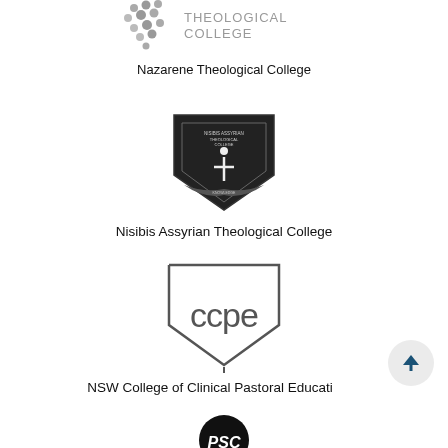[Figure (logo): Nazarene Theological College logo - partial view of dove/leaf design with text 'THEOLOGICAL COLLEGE']
Nazarene Theological College
[Figure (logo): Nisibis Assyrian Theological College shield/crest logo in dark color]
Nisibis Assyrian Theological College
[Figure (logo): CCPE logo - stylized letters within a geometric shield/arrow shape]
NSW College of Clinical Pastoral Education
[Figure (logo): PSC logo - black circle with 'PSC' in bold white stylized lettering, partially visible at bottom]